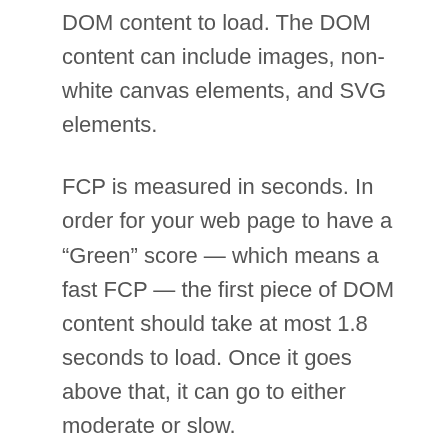DOM content to load. The DOM content can include images, non-white canvas elements, and SVG elements.
FCP is measured in seconds. In order for your web page to have a “Green” score — which means a fast FCP — the first piece of DOM content should take at most 1.8 seconds to load. Once it goes above that, it can go to either moderate or slow.
The reason FCP is important goes back to understanding the user. As mentioned before, users are impatient and will leave your website if it takes too long to load. A fast FCP keeps users